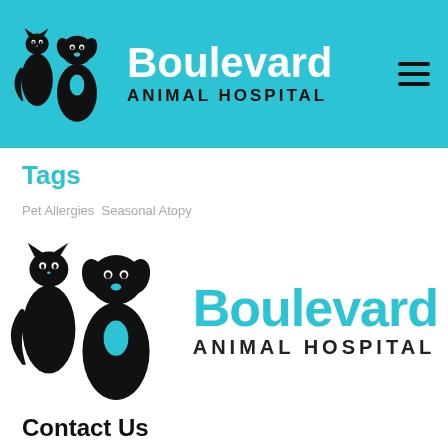Boulevard Animal Hospital
Tags
Pet Allergies  Seasonal Atopy
[Figure (logo): Boulevard Animal Hospital logo — cat and dog silhouettes with text 'Boulevard ANIMAL HOSPITAL' in teal and black]
Contact Us
1913 Grant Ave
Philadelphia PA 19115
Tel: (215) 969-1050